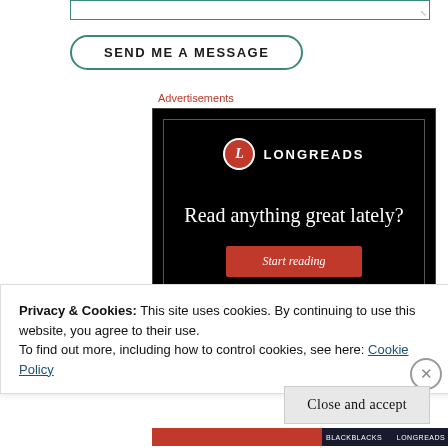[Figure (screenshot): Textarea input box with teal/green border at top of page]
SEND ME A MESSAGE
Advertisements
[Figure (screenshot): Longreads advertisement banner: black background with Longreads logo (red circle with L), text 'Read anything great lately?', and red 'Start reading' button]
Privacy & Cookies: This site uses cookies. By continuing to use this website, you agree to their use.
To find out more, including how to control cookies, see here: Cookie Policy
Close and accept